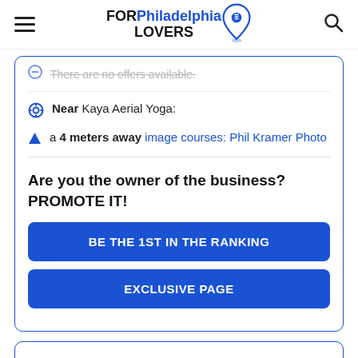FOR Philadelphia LOVERS
There are no offers available.
Near Kaya Aerial Yoga:
a 4 meters away image courses: Phil Kramer Photo
Are you the owner of the business? PROMOTE IT!
BE THE 1ST IN THE RANKING
EXCLUSIVE PAGE
2. Relax And Hang Aerial Yoga Studios